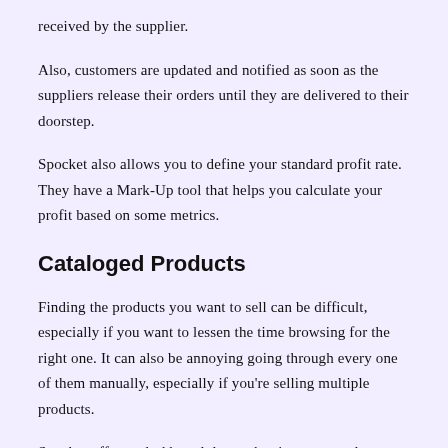received by the supplier.
Also, customers are updated and notified as soon as the suppliers release their orders until they are delivered to their doorstep.
Spocket also allows you to define your standard profit rate. They have a Mark-Up tool that helps you calculate your profit based on some metrics.
Cataloged Products
Finding the products you want to sell can be difficult, especially if you want to lessen the time browsing for the right one. It can also be annoying going through every one of them manually, especially if you're selling multiple products.
Spocket offers a dashboard that makes it easy to order products in just a few clicks.